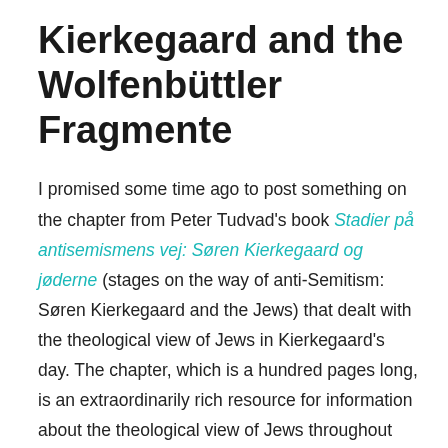Kierkegaard and the Wolfenbüttler Fragmente
I promised some time ago to post something on the chapter from Peter Tudvad's book Stadier på antisemismens vej: Søren Kierkegaard og jøderne (stages on the way of anti-Semitism: Søren Kierkegaard and the Jews) that dealt with the theological view of Jews in Kierkegaard's day. The chapter, which is a hundred pages long, is an extraordinarily rich resource for information about the theological view of Jews throughout European history.